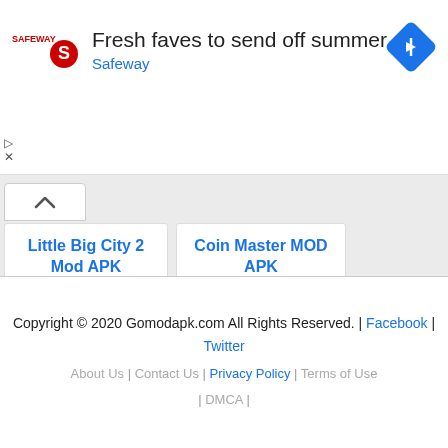[Figure (infographic): Safeway advertisement banner: logo on left, text 'Fresh faves to send off summer' with 'Safeway' subtitle, blue navigation icon on right]
Little Big City 2 Mod APK
Unlimited Money/Diamonds
Coin Master MOD APK
Unlimited Coins
Copyright © 2020 Gomodapk.com All Rights Reserved. | Facebook | Twitter
About Us | Contact Us | Privacy Policy | Terms of Use | DMCA |